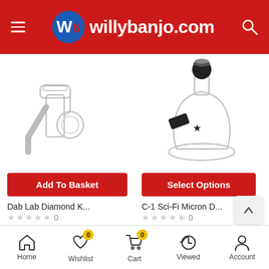willybanjo.com
[Figure (photo): Dab Lab Diamond K product image - a glass dab rig or banger attachment with clear quartz glass]
[Figure (photo): C-1 Sci-Fi Micron D product image - a small glass water pipe/bubbler with black accents and star logo]
Add To Basket
Select Options
Dab Lab Diamond K...
C-1 Sci-Fi Micron D...
0
0
Home  Wishlist  Cart  Viewed  Account